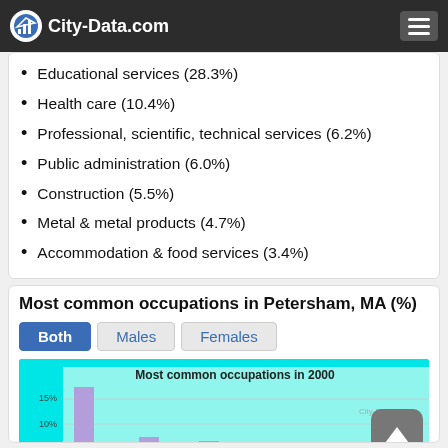City-Data.com
Educational services (28.3%)
Health care (10.4%)
Professional, scientific, technical services (6.2%)
Public administration (6.0%)
Construction (5.5%)
Metal & metal products (4.7%)
Accommodation & food services (3.4%)
Most common occupations in Petersham, MA (%)
[Figure (bar-chart): Partial bar chart showing most common occupations in 2000 for Petersham MA, with y-axis showing 5%, 10%, 15% gridlines. One tall bar near 15% visible on left, smaller bars visible. Chart is cut off at bottom.]